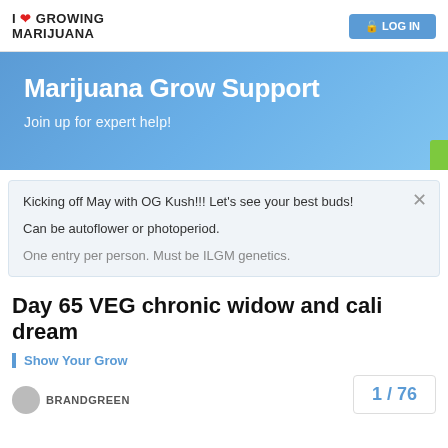I ❤ GROWING MARIJUANA | LOG IN
Marijuana Grow Support
Join up for expert help!
Kicking off May with OG Kush!!! Let's see your best buds! Can be autoflower or photoperiod. One entry per person. Must be ILGM genetics.
Day 65 VEG chronic widow and cali dream
Show Your Grow
1 / 76